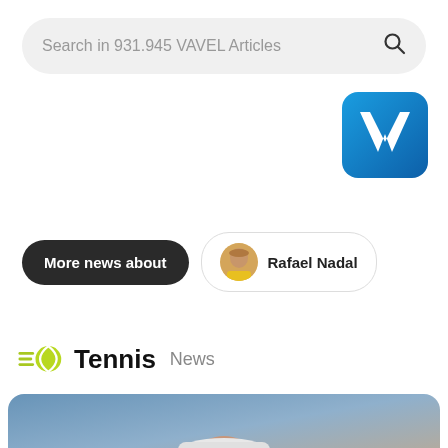Search in 931.945 VAVEL Articles
[Figure (logo): VAVEL blue logo icon, top right]
More news about
Rafael Nadal
Tennis News
[Figure (photo): Close-up photo of Andy Murray wearing a white cap, pumping his fist, with a blurred crowd background]
US Open: Andy Murray rolls back the years